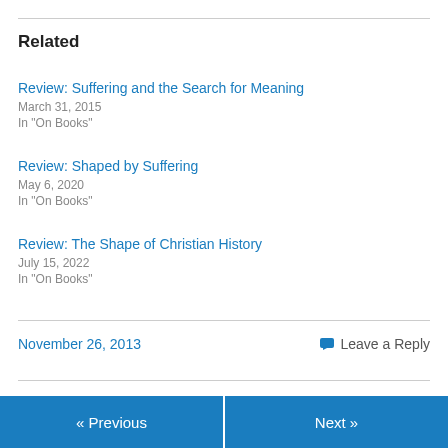Related
Review: Suffering and the Search for Meaning
March 31, 2015
In "On Books"
Review: Shaped by Suffering
May 6, 2020
In "On Books"
Review: The Shape of Christian History
July 15, 2022
In "On Books"
November 26, 2013
Leave a Reply
« Previous   Next »